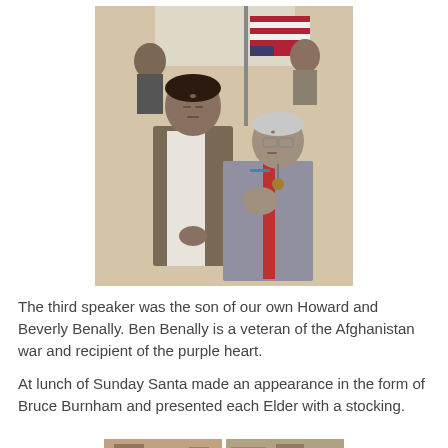[Figure (photo): Two people standing at attention. A younger man in a brown blazer stands on the left with hands clasped in front. An older woman in a grey cardigan and red shirt stands on the right with her hand over her heart. An American flag is visible in the background along with other people.]
The third speaker was the son of our own Howard and Beverly Benally. Ben Benally is a veteran of the Afghanistan war and recipient of the purple heart.
At lunch of Sunday Santa made an appearance in the form of Bruce Burnham and presented each Elder with a stocking.
[Figure (photo): Two small cropped photos at the bottom of the page, partially visible.]